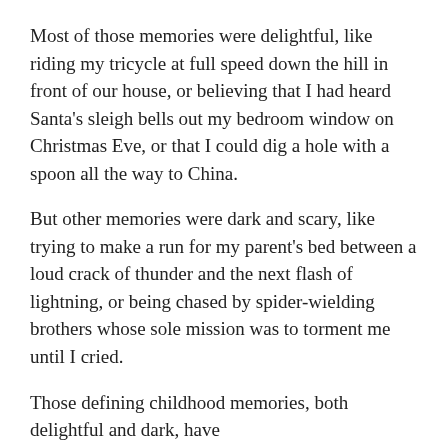Most of those memories were delightful, like riding my tricycle at full speed down the hill in front of our house, or believing that I had heard Santa's sleigh bells out my bedroom window on Christmas Eve, or that I could dig a hole with a spoon all the way to China.
But other memories were dark and scary, like trying to make a run for my parent's bed between a loud crack of thunder and the next flash of lightning, or being chased by spider-wielding brothers whose sole mission was to torment me until I cried.
Those defining childhood memories, both delightful and dark, have provided a treasure chest of ideas for the picture books I write, especially my new book, Bug Patrol (Clarion, 2013), which was inspired by that awful memory of being chased by